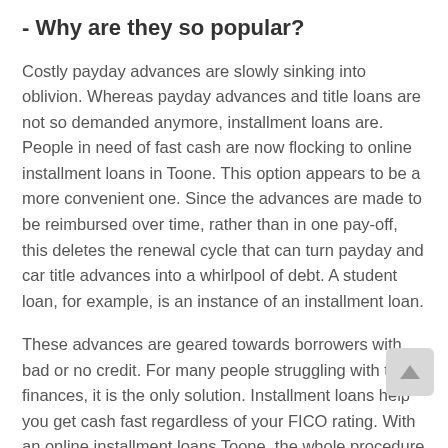- Why are they so popular?
Costly payday advances are slowly sinking into oblivion. Whereas payday advances and title loans are not so demanded anymore, installment loans are. People in need of fast cash are now flocking to online installment loans in Toone. This option appears to be a more convenient one. Since the advances are made to be reimbursed over time, rather than in one pay-off, this deletes the renewal cycle that can turn payday and car title advances into a whirlpool of debt. A student loan, for example, is an instance of an installment loan.
These advances are geared towards borrowers with bad or no credit. For many people struggling with their finances, it is the only solution. Installment loans help you get cash fast regardless of your FICO rating. With an online installment loans Toone, the whole procedure is done online by direct lenders. Many borrowers find it faster and simpler to get an installment loan online than at a